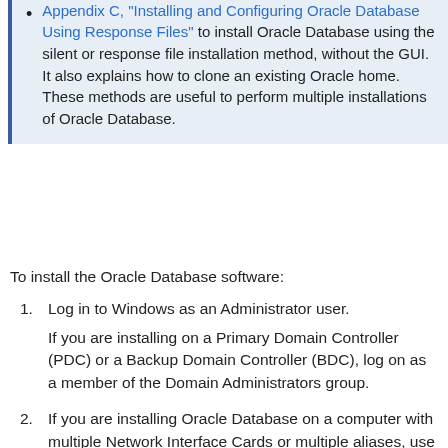Appendix C, "Installing and Configuring Oracle Database Using Response Files" to install Oracle Database using the silent or response file installation method, without the GUI. It also explains how to clone an existing Oracle home. These methods are useful to perform multiple installations of Oracle Database.
To install the Oracle Database software:
1. Log in to Windows as an Administrator user.

If you are installing on a Primary Domain Controller (PDC) or a Backup Domain Controller (BDC), log on as a member of the Domain Administrators group.
2. If you are installing Oracle Database on a computer with multiple Network Interface Cards or multiple aliases, use System in the Control Panel to create the ORACLE_HOSTNAME system environment variable. Set